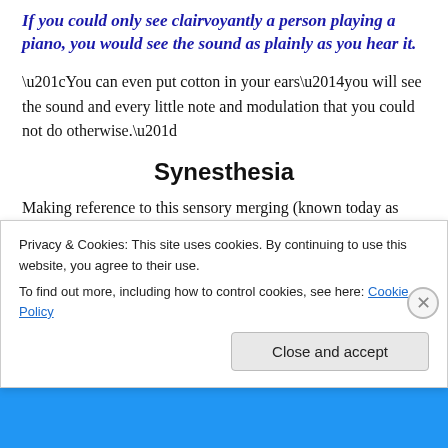If you could only see clairvoyantly a person playing a piano, you would see the sound as plainly as you hear it.
“You can even put cotton in your ears—you will see the sound and every little note and modulation that you could not do otherwise.”
Synesthesia
Making reference to this sensory merging (known today as
Privacy & Cookies: This site uses cookies. By continuing to use this website, you agree to their use.
To find out more, including how to control cookies, see here: Cookie Policy